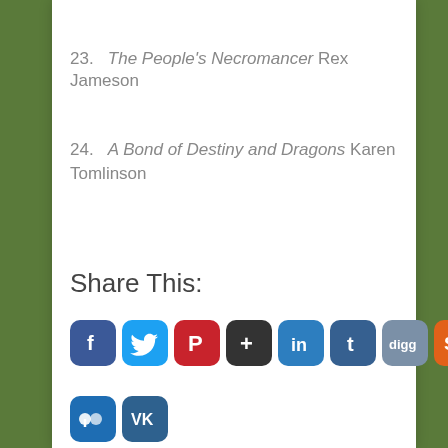23.  The People's Necromancer Rex Jameson
24.  A Bond of Destiny and Dragons Karen Tomlinson
Share This:
[Figure (infographic): Row of social media share buttons: Facebook, Twitter, Pinterest, Google+, LinkedIn, Tumblr, Digg, StumbleUpon; second row: Myspace, VK]